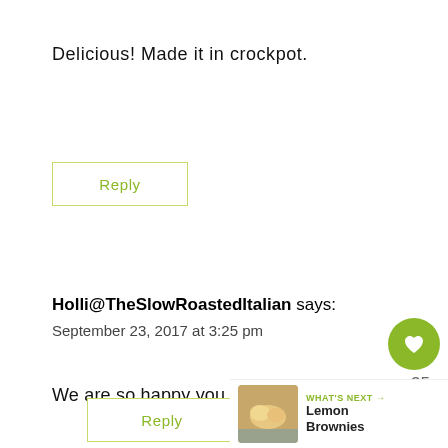Delicious! Made it in crockpot.
Reply
Holli@TheSlowRoastedItalian says:
September 23, 2017 at 3:25 pm
We are so happy you enjoyed it!
Reply
35
WHAT'S NEXT → Lemon Brownies